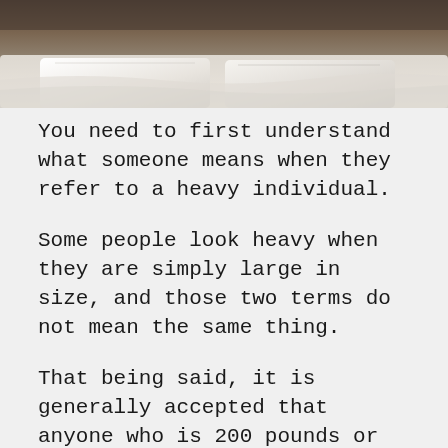[Figure (photo): Photograph of a bed with white pillows and bedding, dark wooden headboard visible at top]
You need to first understand what someone means when they refer to a heavy individual.
Some people look heavy when they are simply large in size, and those two terms do not mean the same thing.
That being said, it is generally accepted that anyone who is 200 pounds or more needs a mattress of ten to twelve inches in thickness.
For heavy people, the thicker the mattress, the